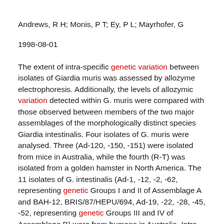Andrews, R H; Monis, P T; Ey, P L; Mayrhofer, G
1998-08-01
The extent of intra-specific genetic variation between isolates of Giardia muris was assessed by allozyme electrophoresis. Additionally, the levels of allozymic variation detected within G. muris were compared with those observed between members of the two major assemblages of the morphologically distinct species Giardia intestinalis. Four isolates of G. muris were analysed. Three (Ad-120, -150, -151) were isolated from mice in Australia, while the fourth (R-T) was isolated from a golden hamster in North America. The 11 isolates of G. intestinalis (Ad-1, -12, -2, -62, representing genetic Groups I and II of Assemblage A and BAH-12, BRIS/87/HEPU/694, Ad-19, -22, -28, -45, -52, representing genetic Groups III and IV of Assemblage B) were from humans in Australia. Intra-specific genetic variation was detected between G. muris isolates at four of the 23 enzyme loci examined. Similar levels of variation were found within the genetic groups that comprise Assemblages A and B of G. intestinalis. These levels of intra-specific variation are similar to those observed within other morphologically-